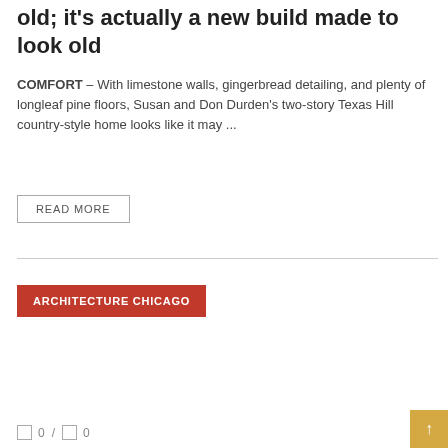old; it's actually a new build made to look old
COMFORT – With limestone walls, gingerbread detailing, and plenty of longleaf pine floors, Susan and Don Durden's two-story Texas Hill country-style home looks like it may ...
READ MORE
ARCHITECTURE CHICAGO
0 / 0